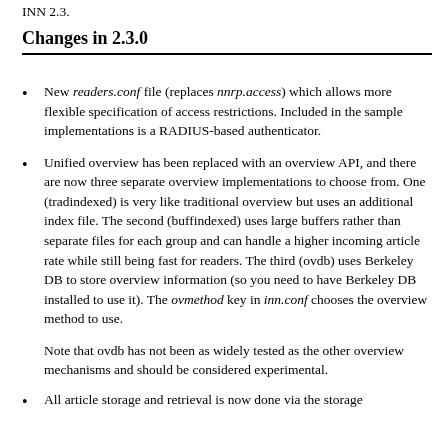INN 2.3.
Changes in 2.3.0
New readers.conf file (replaces nnrp.access) which allows more flexible specification of access restrictions. Included in the sample implementations is a RADIUS-based authenticator.
Unified overview has been replaced with an overview API, and there are now three separate overview implementations to choose from. One (tradindexed) is very like traditional overview but uses an additional index file. The second (buffindexed) uses large buffers rather than separate files for each group and can handle a higher incoming article rate while still being fast for readers. The third (ovdb) uses Berkeley DB to store overview information (so you need to have Berkeley DB installed to use it). The ovmethod key in inn.conf chooses the overview method to use.
Note that ovdb has not been as widely tested as the other overview mechanisms and should be considered experimental.
All article storage and retrieval is now done via the storage